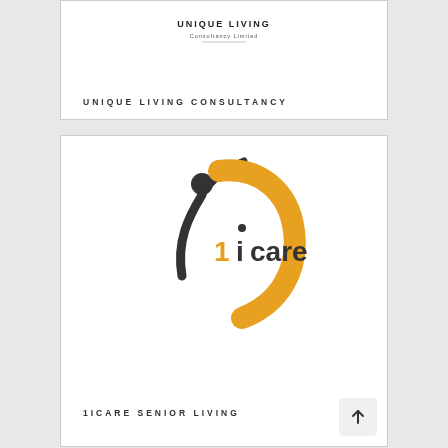[Figure (logo): Unique Living Consultancy Limited logo — stylized text logo with 'UNIQUE LIVING' in bold and 'Consultancy Limited' in smaller text below]
UNIQUE LIVING CONSULTANCY
[Figure (logo): 1iCare Senior Living logo — person figure with raised arm forming an 'i', yellow arc/swoosh forming a 'C', dark grey and yellow color scheme, with '1icare' text in mixed dark and yellow]
1ICARE SENIOR LIVING